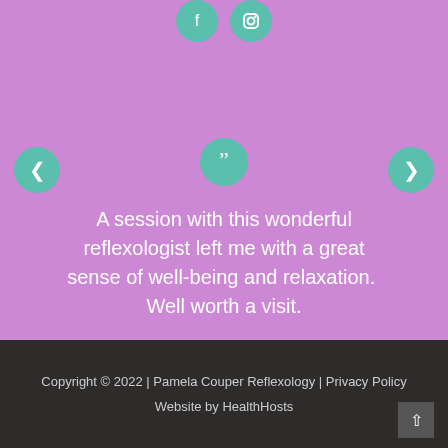[Figure (infographic): Social media icons (Facebook and Instagram) as teal circular buttons at the top]
[Figure (infographic): Teal circular quote icon with double quotation mark]
A session with this wonderful reflexologist left me with a great sense of well-being and relaxation.  Well worth a visit.
Copyright © 2022 | Pamela Couper Reflexology | Privacy Policy
Website by HealthHosts